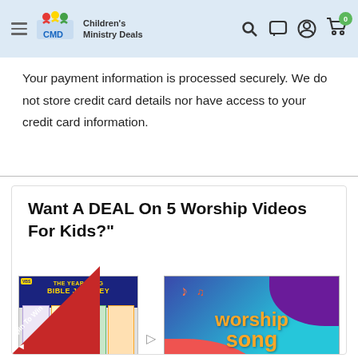[Figure (screenshot): Children's Ministry Deals website header with logo, hamburger menu, search, chat, account, and cart icons (showing 0 items badge)]
Your payment information is processed securely. We do not store credit card details nor have access to your credit card information.
Want A DEAL On 5 Worship Videos For Kids?"
[Figure (screenshot): Bible Journey curriculum product image - colorful grid layout with columns]
[Figure (screenshot): Worship Song 5-Pack product image on teal/purple/red background with musical notes]
[Figure (illustration): Red triangular Spin To Win banner in bottom-left corner of promo box]